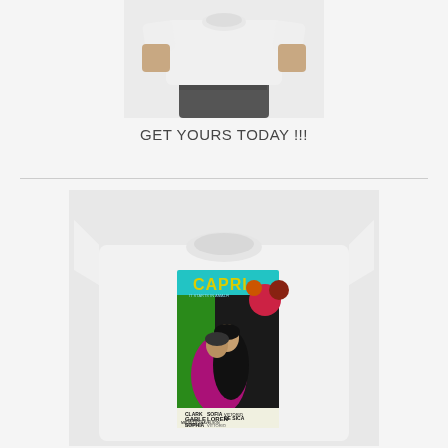[Figure (photo): White t-shirt worn by a person, cropped at torso, shown from chest down, with plain white tee and dark pants]
GET YOURS TODAY !!!
[Figure (photo): White t-shirt laid flat or on mannequin, featuring a colorful Capri movie poster graphic with Clark Gable, Sophia Loren, De Sica credits. Poster has bright teal background, yellow CAPRI text, couple embracing artwork in pop-art style with pink/purple and green colors.]